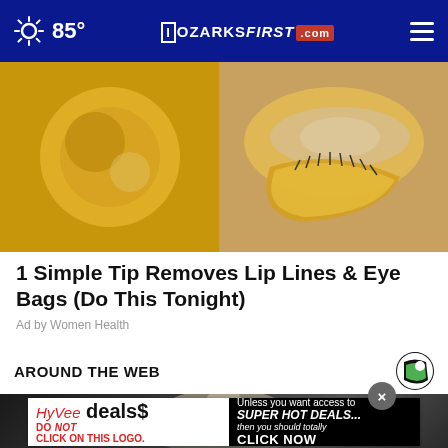85° OZARKSFIRST.com
[Figure (photo): Gold eye patches under eye, and golden oil on the left side]
1 Simple Tip Removes Lip Lines & Eye Bags (Do This Tonight)
Ad by Women Health
AROUND THE WEB
[Figure (photo): News article thumbnail showing a blonde woman, partially visible, with a popup ad overlay for HyVee deals]
HyVee deals$ DO NOT CLICK ON THIS LOGO. Unless you want access to SUPER HOT DEALS... then you should totally CLICK NOW